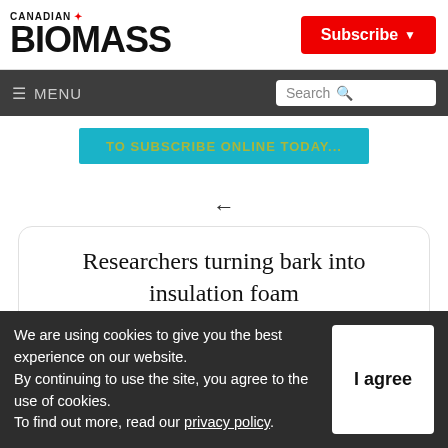CANADIAN BIOMASS
[Figure (screenshot): Subscribe button (red) with dropdown arrow]
[Figure (screenshot): Navigation bar with hamburger menu MENU label and search box]
[Figure (screenshot): Teal banner advertisement with partially visible yellow text]
[Figure (screenshot): Back arrow navigation icon]
Researchers turning bark into insulation foam
We are using cookies to give you the best experience on our website. By continuing to use the site, you agree to the use of cookies. To find out more, read our privacy policy.